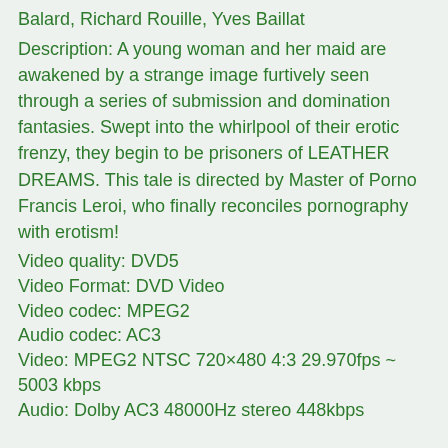Balard, Richard Rouille, Yves Baillat
Description: A young woman and her maid are awakened by a strange image furtively seen through a series of submission and domination fantasies. Swept into the whirlpool of their erotic frenzy, they begin to be prisoners of LEATHER DREAMS. This tale is directed by Master of Porno Francis Leroi, who finally reconciles pornography with erotism!
Video quality: DVD5
Video Format: DVD Video
Video codec: MPEG2
Audio codec: AC3
Video: MPEG2 NTSC 720×480 4:3 29.970fps ~ 5003 kbps
Audio: Dolby AC3 48000Hz stereo 448kbps